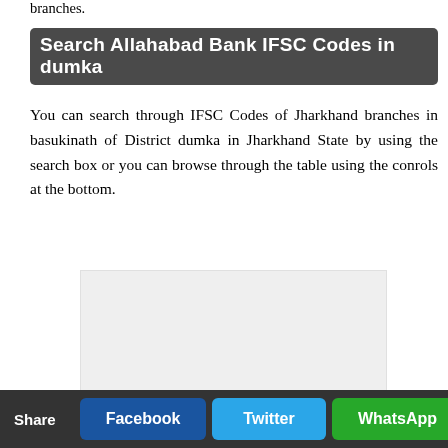branches.
Search Allahabad Bank IFSC Codes in dumka
You can search through IFSC Codes of Jharkhand branches in basukinath of District dumka in Jharkhand State by using the search box or you can browse through the table using the conrols at the bottom.
[Figure (other): Advertisement or placeholder grey box]
Share  Facebook  Twitter  WhatsApp  Reddit